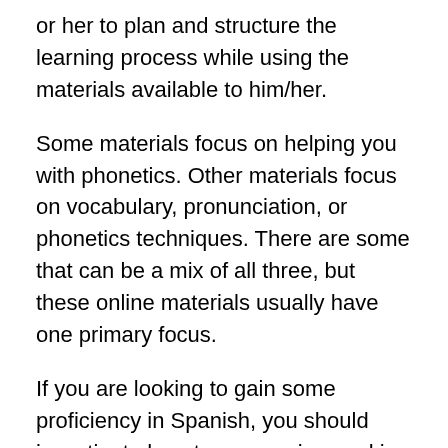or her to plan and structure the learning process while using the materials available to him/her.
Some materials focus on helping you with phonetics. Other materials focus on vocabulary, pronunciation, or phonetics techniques. There are some that can be a mix of all three, but these online materials usually have one primary focus.
If you are looking to gain some proficiency in Spanish, you should investigate how to engage in speaking and listening regularly using the materials at your disposal. The easiest way to do this is through language exchange programs, in which you meet other Spanish users, talk with them, and learn from their experience. Many of the best Spanish online materials offer plenty of options to grow your word stock, grammar awareness, speaking and pronunciation skills while sticking to a method you